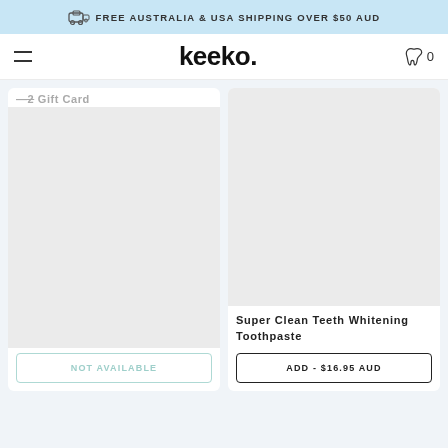FREE AUSTRALIA & USA SHIPPING OVER $50 AUD
keeko. 0
Gift Card
[Figure (other): Product image placeholder - light gray rectangle]
NOT AVAILABLE
Super Clean Teeth Whitening Toothpaste
[Figure (other): Product image placeholder - light gray rectangle]
ADD - $16.95 AUD